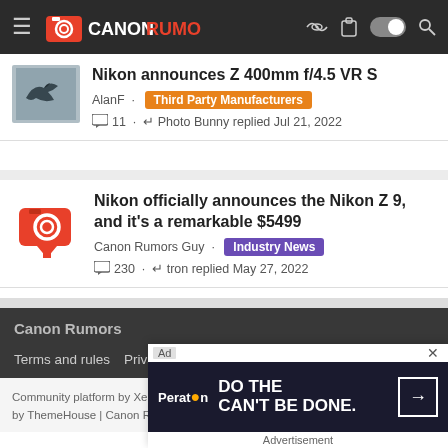Canon Rumors - site header with logo and navigation icons
Nikon announces Z 400mm f/4.5 VR S
AlanF · Third Party Manufacturers
💬 11 · ↩ Photo Bunny replied Jul 21, 2022
Nikon officially announces the Nikon Z 9, and it's a remarkable $5499
Canon Rumors Guy · Industry News
💬 230 · ↩ tron replied May 27, 2022
Canon Rumors | Terms and rules | Privacy policy | Help | Home
Community platform by XenForo® © 2010-2022 XenForo Ltd. | Style and add-ons by ThemeHouse | Canon Rumors Hosting provided by Host Duplex
[Figure (screenshot): Peraton advertisement banner: DO THE CAN'T BE DONE.]